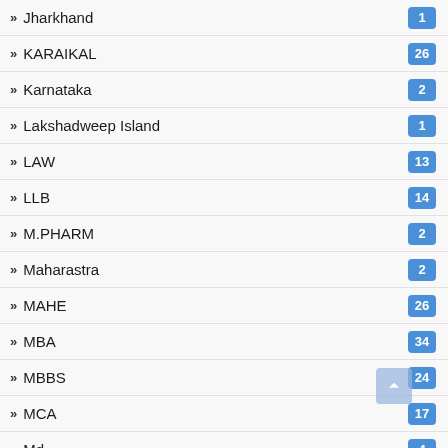Jharkhand
KARAIKAL
Karnataka
Lakshadweep Island
LAW
LLB
M.PHARM
Maharastra
MAHE
MBA
MBBS
MCA
Md